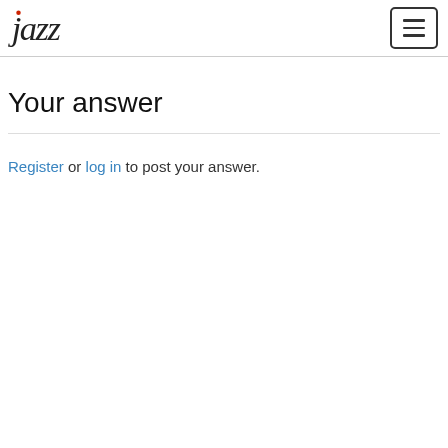Jazz logo and navigation menu button
Your answer
Register or log in to post your answer.